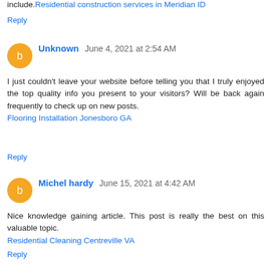include. Residential construction services in Meridian ID
Reply
Unknown June 4, 2021 at 2:54 AM
I just couldn't leave your website before telling you that I truly enjoyed the top quality info you present to your visitors? Will be back again frequently to check up on new posts. Flooring Installation Jonesboro GA
Reply
Michel hardy June 15, 2021 at 4:42 AM
Nice knowledge gaining article. This post is really the best on this valuable topic. Residential Cleaning Centreville VA
Reply